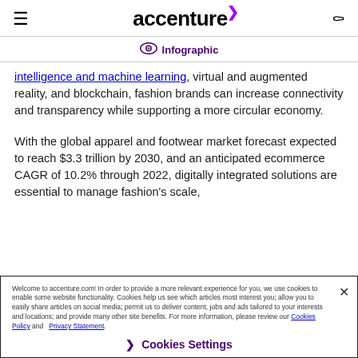accenture
Infographic
intelligence and machine learning, virtual and augmented reality, and blockchain, fashion brands can increase connectivity and transparency while supporting a more circular economy.
With the global apparel and footwear market forecast expected to reach $3.3 trillion by 2030, and an anticipated ecommerce CAGR of 10.2% through 2022, digitally integrated solutions are essential to manage fashion's scale,
Welcome to accenture.com! In order to provide a more relevant experience for you, we use cookies to enable some website functionality. Cookies help us see which articles most interest you; allow you to easily share articles on social media; permit us to deliver content, jobs and ads tailored to your interests and locations; and provide many other site benefits. For more information, please review our Cookies Policy and Privacy Statement.
Cookies Settings